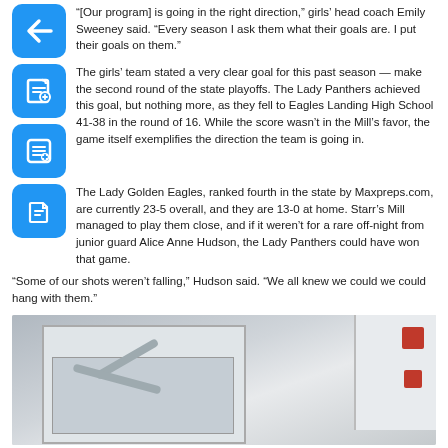“[Our program] is going in the right direction,” girls’ head coach Emily Sweeney said. “Every season I ask them what their goals are. I put their goals on them.”
The girls’ team stated a very clear goal for this past season — make the second round of the state playoffs. The Lady Panthers achieved this goal, but nothing more, as they fell to Eagles Landing High School 41-38 in the round of 16. While the score wasn’t in the Mill’s favor, the game itself exemplifies the direction the team is going in.
The Lady Golden Eagles, ranked fourth in the state by Maxpreps.com, are currently 23-5 overall, and they are 13-0 at home. Starr’s Mill managed to play them close, and if it weren’t for a rare off-night from junior guard Alice Anne Hudson, the Lady Panthers could have won that game.
“Some of our shots weren’t falling,” Hudson said. “We all knew we could we could hang with them.”
[Figure (photo): A photograph showing what appears to be a sports-related scene with a door or garage-style equipment area and wall fixtures.]